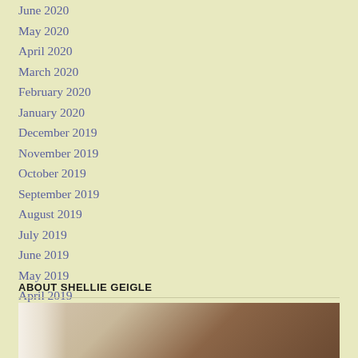June 2020
May 2020
April 2020
March 2020
February 2020
January 2020
December 2019
November 2019
October 2019
September 2019
August 2019
July 2019
June 2019
May 2019
April 2019
ABOUT SHELLIE GEIGLE
[Figure (photo): Photo of Shellie Geigle, partially visible at bottom of page]